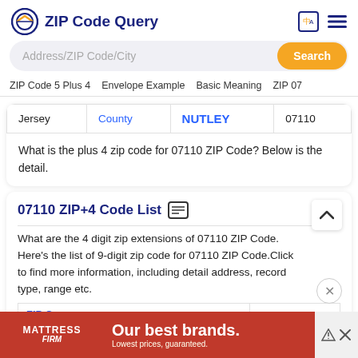ZIP Code Query
Address/ZIP Code/City
ZIP Code 5 Plus 4  Envelope Example  Basic Meaning  ZIP 07
| Jersey | County | NUTLEY | 07110 |
What is the plus 4 zip code for 07110 ZIP Code? Below is the detail.
07110 ZIP+4 Code List
What are the 4 digit zip extensions of 07110 ZIP Code. Here's the list of 9-digit zip code for 07110 ZIP Code.Click to find more information, including detail address, record type, range etc.
| ZIP C... | 4 |
| --- | --- |